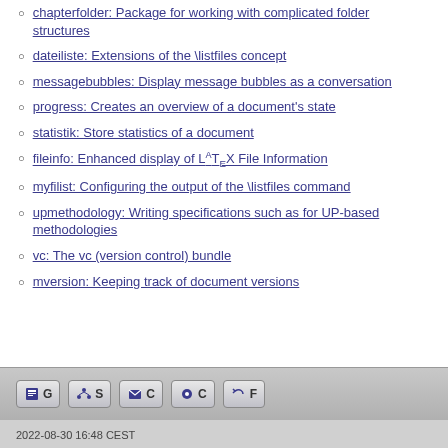chapterfolder: Package for working with complicated folder structures
dateiliste: Extensions of the \listfiles concept
messagebubbles: Display message bubbles as a conversation
progress: Creates an overview of a document's state
statistik: Store statistics of a document
fileinfo: Enhanced display of LaTeX File Information
myfilist: Configuring the output of the \listfiles command
upmethodology: Writing specifications such as for UP-based methodologies
vc: The vc (version control) bundle
mversion: Keeping track of document versions
2022-08-30 16:48 CEST